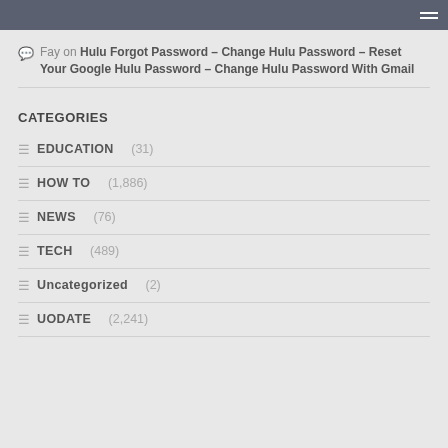Fay on Hulu Forgot Password – Change Hulu Password – Reset Your Google Hulu Password – Change Hulu Password With Gmail
CATEGORIES
EDUCATION (31)
HOW TO (1,886)
NEWS (76)
TECH (489)
Uncategorized (2)
UODATE (2,241)